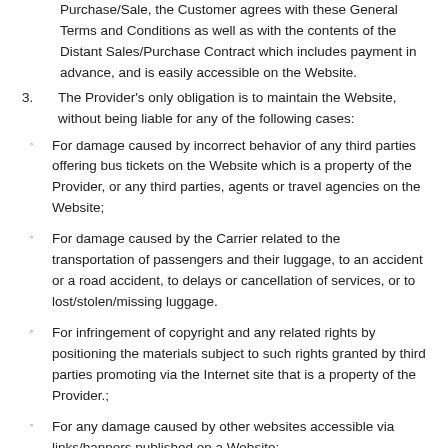Purchase/Sale, the Customer agrees with these General Terms and Conditions as well as with the contents of the Distant Sales/Purchase Contract which includes payment in advance, and is easily accessible on the Website.
3. The Provider's only obligation is to maintain the Website, without being liable for any of the following cases:
For damage caused by incorrect behavior of any third parties offering bus tickets on the Website which is a property of the Provider, or any third parties, agents or travel agencies on the Website;
For damage caused by the Carrier related to the transportation of passengers and their luggage, to an accident or a road accident, to delays or cancellation of services, or to lost/stolen/missing luggage.
For infringement of copyright and any related rights by positioning the materials subject to such rights granted by third parties promoting via the Internet site that is a property of the Provider.;
For any damage caused by other websites accessible via links/banners published on a Website;
For any damage caused to the Customer during the